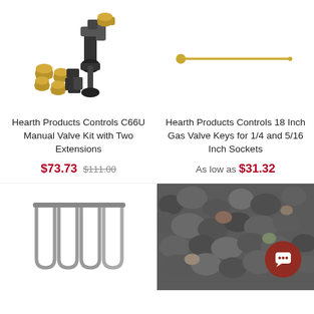[Figure (photo): Hearth Products Controls C66U Manual Valve Kit with Two Extensions — pipe fittings and valve assembly]
Hearth Products Controls C66U Manual Valve Kit with Two Extensions
$73.73 $111.00
[Figure (photo): Hearth Products Controls 18 Inch Gas Valve Keys for 1/4 and 5/16 Inch Sockets — thin metal rod key]
Hearth Products Controls 18 Inch Gas Valve Keys for 1/4 and 5/16 Inch Sockets
As low as $31.32
[Figure (photo): Gas burner U-shaped metal tubes/burner parts]
[Figure (photo): Dark crushed rock/lava rock aggregate]